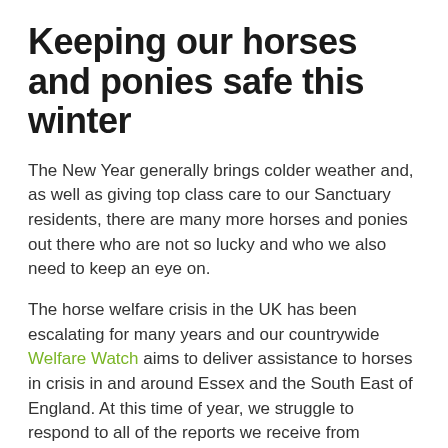Keeping our horses and ponies safe this winter
The New Year generally brings colder weather and, as well as giving top class care to our Sanctuary residents, there are many more horses and ponies out there who are not so lucky and who we also need to keep an eye on.
The horse welfare crisis in the UK has been escalating for many years and our countrywide Welfare Watch aims to deliver assistance to horses in crisis in and around Essex and the South East of England. At this time of year, we struggle to respond to all of the reports we receive from members of the public; we just cannot physically be everywhere we are needed – and it comes at great cost! Will you donate to our Winter Feed Appeal?
We've put together this simple five-step checklist, designed for everyone to refer to before contacting us, so that we can all work together to help more horses and ponies at this